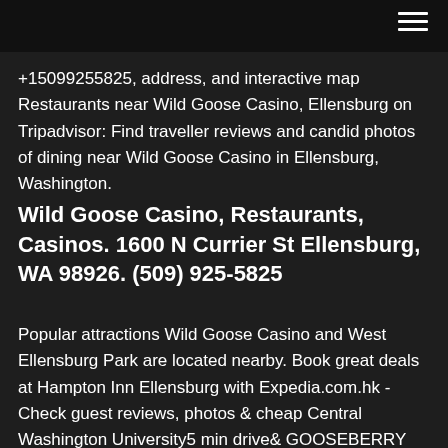+15099255825, address, and interactive map Restaurants near Wild Goose Casino, Ellensburg on Tripadvisor: Find traveller reviews and candid photos of dining near Wild Goose Casino in Ellensburg, Washington.
Wild Goose Casino, Restaurants, Casinos. 1600 N Currier St Ellensburg, WA 98926. (509) 925-5825
Popular attractions Wild Goose Casino and West Ellensburg Park are located nearby. Book great deals at Hampton Inn Ellensburg with Expedia.com.hk - Check guest reviews, photos & cheap Central Washington University5 min drive& GOOSEBERRY FARMS TRAVEL STORE. 482 SUEDEBURG BIG CHARLIE'S TRUCK PLAZA INC rewards retailer. 5792 NORTH